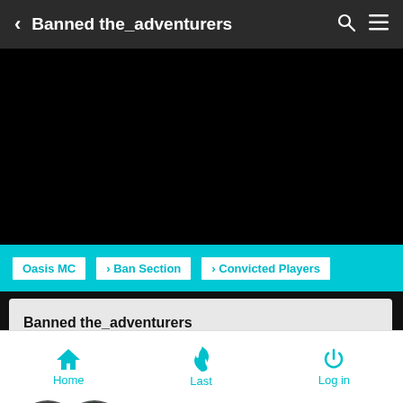Banned the_adventurers
[Figure (screenshot): Black area representing a blank/loading content region]
Oasis MC › Ban Section › Convicted Players
Banned the_adventurers
[Figure (photo): Two overlapping circular user avatars at the bottom of the thread]
Home  Last  Log in